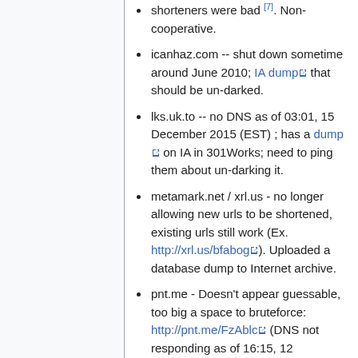shorteners were bad [7]. Non-cooperative.
icanhaz.com -- shut down sometime around June 2010; IA dump that should be un-darked.
lks.uk.to -- no DNS as of 03:01, 15 December 2015 (EST) ; has a dump on IA in 301Works; need to ping them about un-darking it.
metamark.net / xrl.us - no longer allowing new urls to be shortened, existing urls still work (Ex. http://xrl.us/bfabog). Uploaded a database dump to Internet archive.
pnt.me - Doesn't appear guessable, too big a space to bruteforce: http://pnt.me/FzAblc (DNS not responding as of 16:15, 12 December 2015 (EST)) IA dump that should be un-darked.